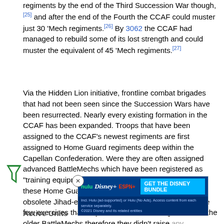regiments by the end of the Third Succession War though,[25] and after the end of the Fourth the CCAF could muster just 30 'Mech regiments.[26] By 3062 the CCAF had managed to rebuild some of its lost strength and could muster the equivalent of 45 'Mech regiments.[27]
Via the Hidden Lion initiative, frontline combat brigades that had not been seen since the Succession Wars have been resurrected. Nearly every existing formation in the CCAF has been expanded. Troops that have been assigned to the CCAF's newest regiments are first assigned to Home Guard regiments deep within the Capellan Confederation. Were they are often assigned advanced BattleMechs which have been registered as "training equipment" and kept at remote bases. Many of these Home Guard regiments continue to operate a few obsolete Jihad-era BattleMechs for infantry support. The few exercises that they were observed doing were with the older BattleMechs therefore they didn't raise any suspicion. Which allowed the CCAF to continue to sharpen the skills of its MechWarriors on the advanced MechWarriors...
[Figure (other): Disney Bundle advertisement banner showing Hulu, Disney+, and ESPN+ logos with 'GET THE DISNEY BUNDLE' call to action]
Active Units